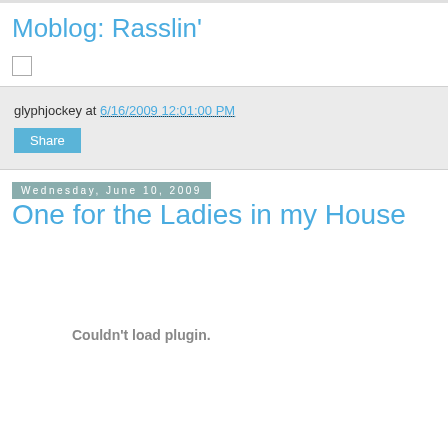Moblog: Rasslin'
[Figure (other): Small checkbox/image placeholder icon]
glyphjockey at 6/16/2009 12:01:00 PM
Share
Wednesday, June 10, 2009
One for the Ladies in my House
Couldn't load plugin.